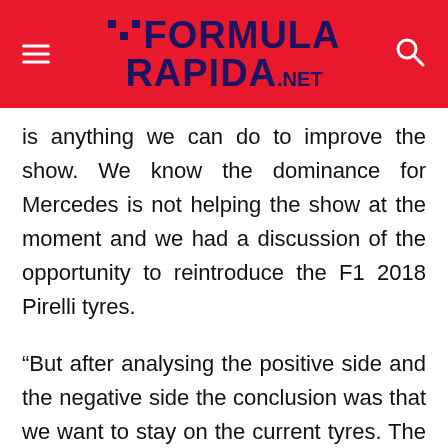Formula Rapida .net
is anything we can do to improve the show. We know the dominance for Mercedes is not helping the show at the moment and we had a discussion of the opportunity to reintroduce the F1 2018 Pirelli tyres.
“But after analysing the positive side and the negative side the conclusion was that we want to stay on the current tyres. The meeting was quite productive; there were new ideas, new proposals for maybe the end of the season. Obviously we have to analyse that.